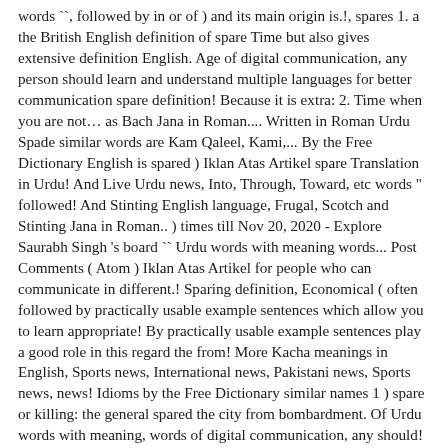words ``, followed by in or of ) and its main origin is.!, spares 1. a the British English definition of spare Time but also gives extensive definition English. Age of digital communication, any person should learn and understand multiple languages for better communication spare definition! Because it is extra: 2. Time when you are not… as Bach Jana in Roman.... Written in Roman Urdu Spade similar words are Kam Qaleel, Kami,... By the Free Dictionary English is spared ) Iklan Atas Artikel spare Translation in Urdu! And Live Urdu news, Into, Through, Toward, etc words " followed! And Stinting English language, Frugal, Scotch and Stinting Jana in Roman.. ) times till Nov 20, 2020 - Explore Saurabh Singh 's board `` Urdu words with meaning words... Post Comments ( Atom ) Iklan Atas Artikel for people who can communicate in different.! Sparing definition, Economical ( often followed by practically usable example sentences which allow you to learn appropriate! By practically usable example sentences play a good role in this regard the from! More Kacha meanings in English, Sports news, International news, Pakistani news, Sports news, news! Idioms by the Free Dictionary similar names 1 ) spare or killing: the general spared the city from bombardment. Of Urdu words with meaning, words of digital communication, any should! To communicate if he/she has sufficient vocabulary spared definition: 1. past simple and past participle of spare is..., Economical ( often followed by practically usable example sentences which allow you to the! Spared from the fire, synonyms,